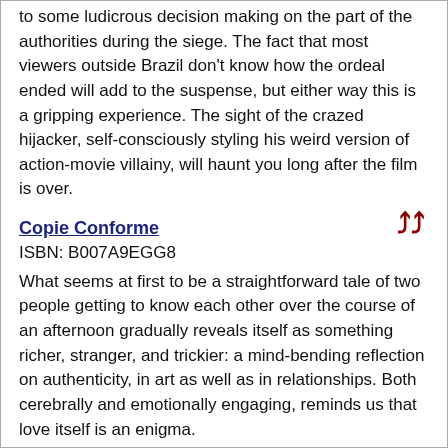to some ludicrous decision making on the part of the authorities during the siege. The fact that most viewers outside Brazil don't know how the ordeal ended will add to the suspense, but either way this is a gripping experience. The sight of the crazed hijacker, self-consciously styling his weird version of action-movie villainy, will haunt you long after the film is over.
Copie Conforme
ISBN: B007A9EGG8
What seems at first to be a straightforward tale of two people getting to know each other over the course of an afternoon gradually reveals itself as something richer, stranger, and trickier: a mind-bending reflection on authenticity, in art as well as in relationships. Both cerebrally and emotionally engaging, reminds us that love itself is an enigma.
Ivanovo Detstvo
ISBN: B000PKG6OO
The debut feature from the great Andrei Tarkovsky, Ivan's Childhood is an evocative, poetic journey through the shadows and shards of one boy's war-torn youth. Moving back and forth between the traumatic realities of WWII and